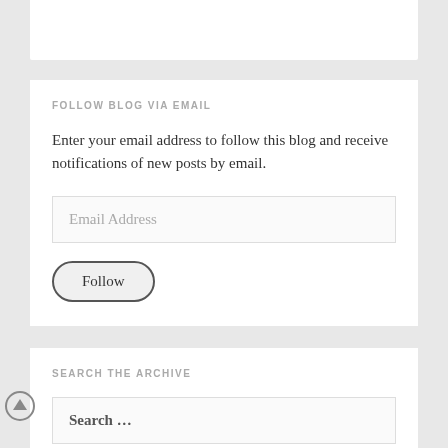FOLLOW BLOG VIA EMAIL
Enter your email address to follow this blog and receive notifications of new posts by email.
[Figure (screenshot): Email Address input field placeholder]
[Figure (screenshot): Follow button with rounded border]
SEARCH THE ARCHIVE
[Figure (screenshot): Search ... input field]
[Figure (illustration): Circle upload/scroll-to-top arrow icon on left side]